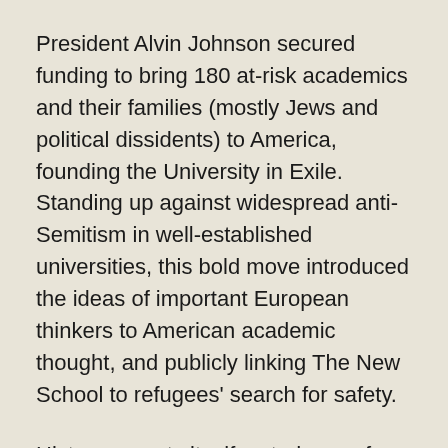President Alvin Johnson secured funding to bring 180 at-risk academics and their families (mostly Jews and political dissidents) to America, founding the University in Exile. Standing up against widespread anti-Semitism in well-established universities, this bold move introduced the ideas of important European thinkers to American academic thought, and publicly linking The New School to refugees' search for safety.
History repeats itself as today we face the worst refugee crisis since WWII. With deep and ongoing upheaval in Syria and Central America, ongoing litigation of the Muslim travel ban, and